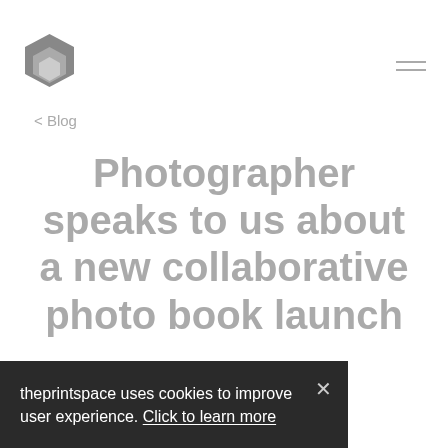[logo] [hamburger menu]
< Blog
Photographer speaks to us about a new collaborative photo book launch
March 1, 2016
theprintspace uses cookies to improve user experience. Click to learn more